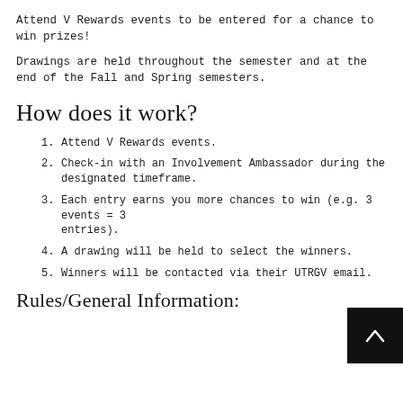Attend V Rewards events to be entered for a chance to win prizes!
Drawings are held throughout the semester and at the end of the Fall and Spring semesters.
How does it work?
1. Attend V Rewards events.
2. Check-in with an Involvement Ambassador during the designated timeframe.
3. Each entry earns you more chances to win (e.g. 3 events = 3 entries).
4. A drawing will be held to select the winners.
5. Winners will be contacted via their UTRGV email.
Rules/General Information: